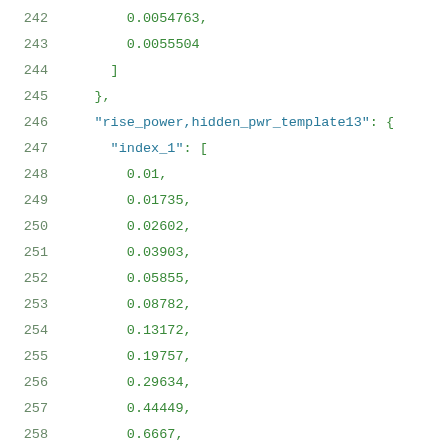242    0.0054763,
243    0.0055504
244    ]
245  },
246  "rise_power,hidden_pwr_template13": {
247    "index_1": [
248      0.01,
249      0.01735,
250      0.02602,
251      0.03903,
252      0.05855,
253      0.08782,
254      0.13172,
255      0.19757,
256      0.29634,
257      0.44449,
258      0.6667,
259      1.0,
260      1.5
261    ],
262    "values": [